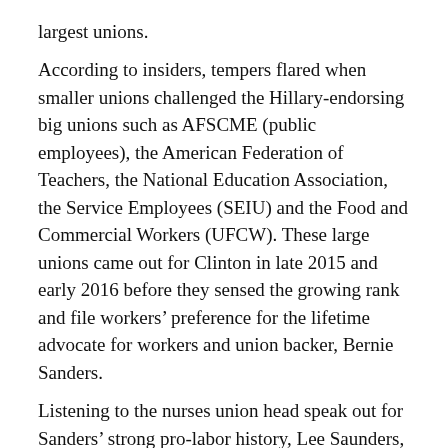largest unions.
According to insiders, tempers flared when smaller unions challenged the Hillary-endorsing big unions such as AFSCME (public employees), the American Federation of Teachers, the National Education Association, the Service Employees (SEIU) and the Food and Commercial Workers (UFCW). These large unions came out for Clinton in late 2015 and early 2016 before they sensed the growing rank and file workers' preference for the lifetime advocate for workers and union backer, Bernie Sanders.
Listening to the nurses union head speak out for Sanders' strong pro-labor history, Lee Saunders, president of AFSCME, interrupted her, exclaiming: “I will not allow you to do a commercial for Sanders.” She retorted, “You mean for the only candidate who has a 100% labor record?”
A union leader of postal workers charged the unions backing Hillary as being “completely out of touch with their workers.”
AFL-CIO President Richard Trumka then cut off their